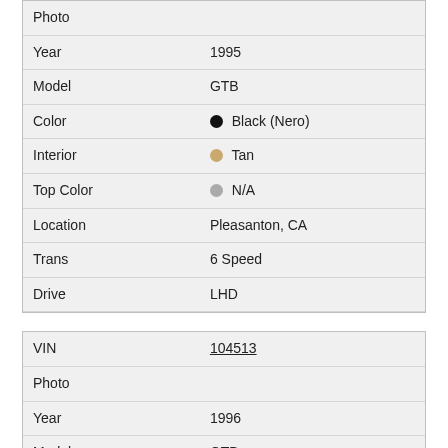| Field | Value |
| --- | --- |
| Photo |  |
| Year | 1995 |
| Model | GTB |
| Color | Black (Nero) |
| Interior | Tan |
| Top Color | N/A |
| Location | Pleasanton, CA |
| Trans | 6 Speed |
| Drive | LHD |
| Field | Value |
| --- | --- |
| VIN | 104513 |
| Photo |  |
| Year | 1996 |
| Model | GTB |
| Color | Racing Red (Rosso Corsa) |